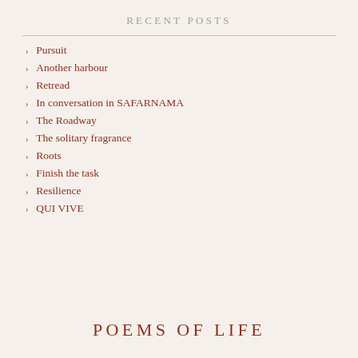RECENT POSTS
Pursuit
Another harbour
Retread
In conversation in SAFARNAMA
The Roadway
The solitary fragrance
Roots
Finish the task
Resilience
QUI VIVE
POEMS OF LIFE